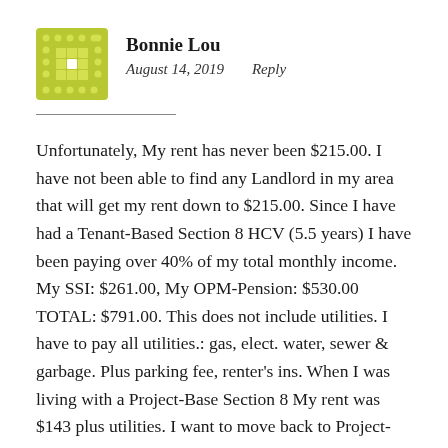[Figure (illustration): Green/yellow decorative avatar icon with a grid/dot pattern in a square tile shape]
Bonnie Lou
August 14, 2019    Reply
Unfortunately, My rent has never been $215.00. I have not been able to find any Landlord in my area that will get my rent down to $215.00. Since I have had a Tenant-Based Section 8 HCV (5.5 years) I have been paying over 40% of my total monthly income. My SSI: $261.00, My OPM-Pension: $530.00 TOTAL: $791.00. This does not include utilities. I have to pay all utilities.: gas, elect. water, sewer & garbage. Plus parking fee, renter's ins. When I was living with a Project-Base Section 8 My rent was $143 plus utilities. I want to move back to Project-Based